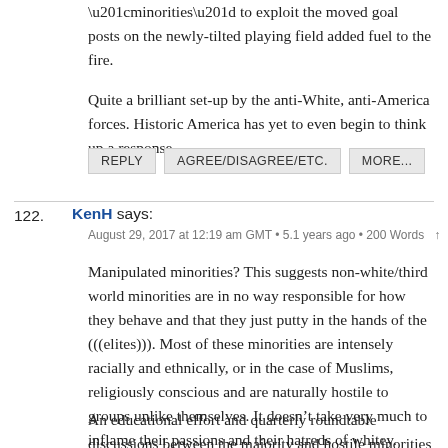“minorities” to exploit the moved goal posts on the newly-tilted playing field added fuel to the fire.

Quite a brilliant set-up by the anti-White, anti-America forces. Historic America has yet to even begin to think up a response.
REPLY
AGREE/DISAGREE/ETC.
MORE...
122. KenH says:
August 29, 2017 at 12:19 am GMT • 5.1 years ago • 200 Words ↑
Manipulated minorities? This suggests non-white/third world minorities are in no way responsible for how they behave and that they just putty in the hands of the (((elites))). Most of these minorities are intensely racially and ethnically, or in the case of Muslims, religiously conscious and are naturally hostile to groups unlike themselves. It doesn’t take very much to inflame their passions and their hatreds of whitey.

An educational effort and quarterly roundtable discussions between the majority and hostile minorities isn’t the answer